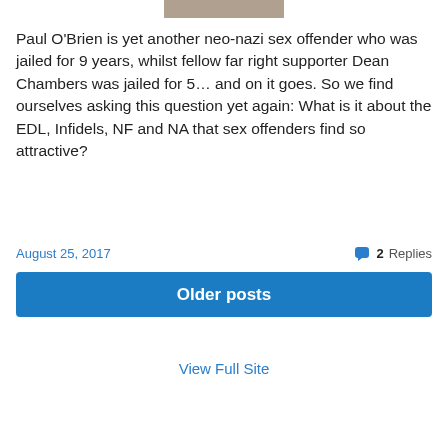[Figure (photo): Cropped photo strip at top of page]
Paul O'Brien is yet another neo-nazi sex offender who was jailed for 9 years, whilst fellow far right supporter Dean Chambers was jailed for 5… and on it goes. So we find ourselves asking this question yet again: What is it about the EDL, Infidels, NF and NA that sex offenders find so attractive?
August 25, 2017
2 Replies
Older posts
View Full Site